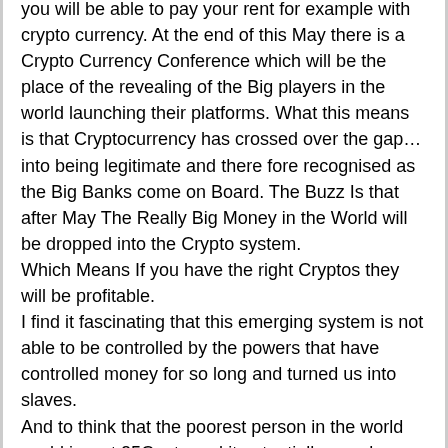you will be able to pay your rent for example with crypto currency. At the end of this May there is a Crypto Currency Conference which will be the place of the revealing of the Big players in the world launching their platforms. What this means is that Cryptocurrency has crossed over the gap…into being legitimate and there fore recognised as the Big Banks come on Board. The Buzz Is that after May The Really Big Money in the World will be dropped into the Crypto system. Which Means If you have the right Cryptos they will be profitable. I find it fascinating that this emerging system is not able to be controlled by the powers that have controlled money for so long and turned us into slaves. And to think that the poorest person in the world could invest 25Cents and it potentially one day could be worth $2500 or even much more… is a major turn around of the financial system.
Just to add to weather Blockchain being used for Evil intentions being a reason not to get involved. May I draw a parallel with the internet. There is something called the Dark Web. A place that only those with Evil intentions would Go. In fact demonic activity is all around us. But the fact that they are using the internet for there wicked purposes…should not stop Me from Logging on and being involved with the internet to fellowship and be able to